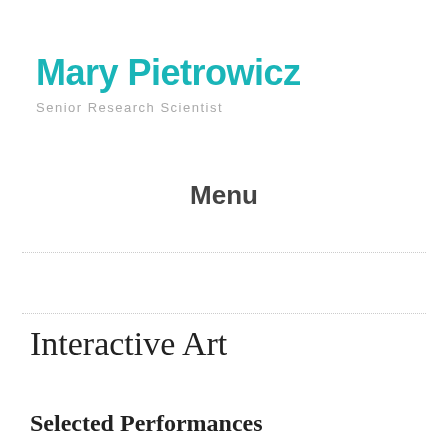Mary Pietrowicz
Senior Research Scientist
Menu
Interactive Art
Selected Performances